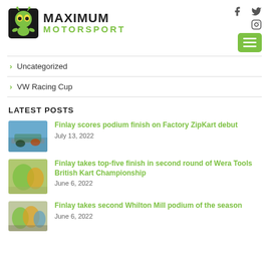[Figure (logo): Maximum Motorsport logo with alien mascot character and green text]
> Uncategorized
> VW Racing Cup
LATEST POSTS
[Figure (photo): Kart racing photo for Finlay ZipKart article]
Finlay scores podium finish on Factory ZipKart debut
July 13, 2022
[Figure (photo): Kart racing photo for Wera Tools British Kart Championship article]
Finlay takes top-five finish in second round of Wera Tools British Kart Championship
June 6, 2022
[Figure (photo): Kart racing photo for Whilton Mill podium article]
Finlay takes second Whilton Mill podium of the season
June 6, 2022